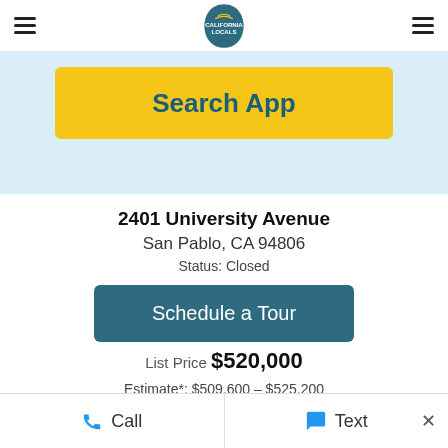California Locals — navigation header with hamburger menus and logo
[Figure (screenshot): Yellow Search App button banner on light blue background]
2401 University Avenue
San Pablo, CA 94806
Status: Closed
Schedule a Tour
List Price $520,000
Estimate*: $509,600 – $525,200
Call  Text  ×